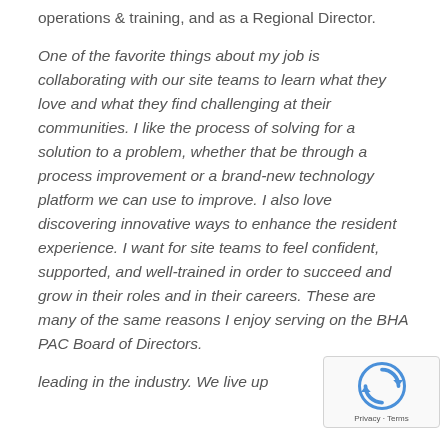operations & training, and as a Regional Director.
One of the favorite things about my job is collaborating with our site teams to learn what they love and what they find challenging at their communities. I like the process of solving for a solution to a problem, whether that be through a process improvement or a brand-new technology platform we can use to improve. I also love discovering innovative ways to enhance the resident experience. I want for site teams to feel confident, supported, and well-trained in order to succeed and grow in their roles and in their careers. These are many of the same reasons I enjoy serving on the BHA PAC Board of Directors.
leading in the industry. We live up...